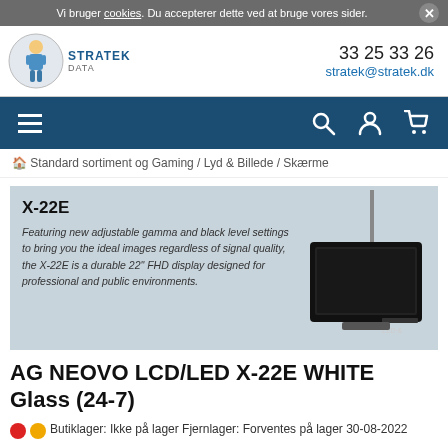Vi bruger cookies. Du accepterer dette ved at bruge vores sider.
[Figure (logo): Stratek Data logo with cartoon figure]
33 25 33 26
stratek@stratek.dk
[Figure (other): Navigation bar with hamburger menu, search, user, and cart icons]
Standard sortiment og Gaming / Lyd & Billede / Skærme
[Figure (photo): Product image of AG Neovo X-22E monitor on light blue-grey background with product description text]
AG NEOVO LCD/LED X-22E WHITE Glass (24-7)
Butiklager: Ikke på lager Fjernlager: Forventes på lager 30-08-2022